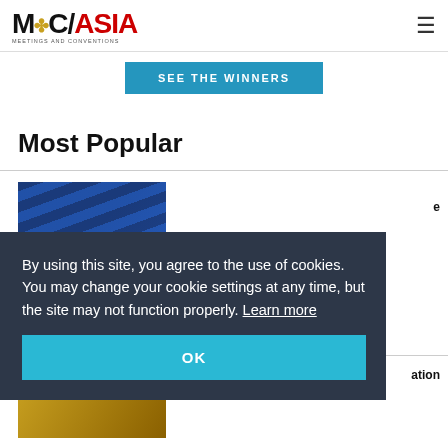MC/ASIA Meetings and Conventions Asia
SEE THE WINNERS
Most Popular
[Figure (photo): Thumbnail image with blue background, partial view of a document or magazine cover]
[Figure (photo): Thumbnail image with golden/yellow tones, partial view of an award or event photo]
By using this site, you agree to the use of cookies. You may change your cookie settings at any time, but the site may not function properly. Learn more
OK